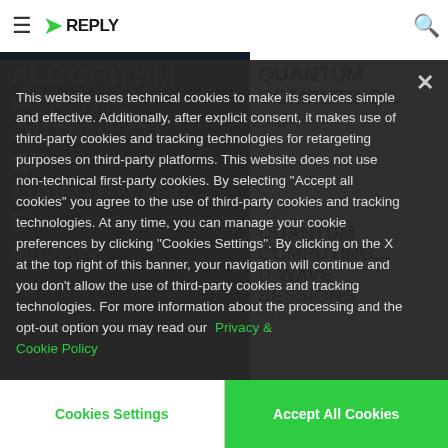REPLY
ALGORITHM FOR THE OPTIMIZATION OF MAINTENANCE WORK
QUANTUM COMPUTING...
The Quantum...
This website uses technical cookies to make its services simple and effective. Additionally, after explicit consent, it makes use of third-party cookies and tracking technologies for retargeting purposes on third-party platforms. This website does not use non-technical first-party cookies. By selecting "Accept all cookies" you agree to the use of third-party cookies and tracking technologies. At any time, you can manage your cookie preferences by clicking "Cookies Settings". By clicking on the X at the top right of this banner, your navigation will continue and you don't allow the use of third-party cookies and tracking technologies. For more information about the processing and the opt-out option you may read our Privacy & Cookie Policy
Cookies Settings
Accept All Cookies
Reply © 202...
Cookie Settings